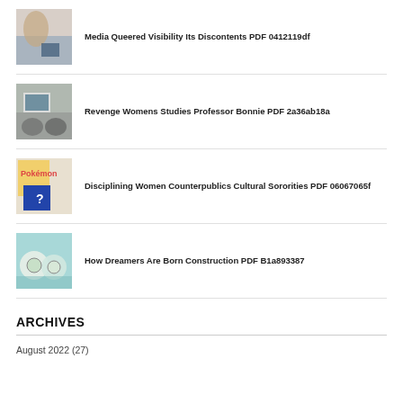Media Queered Visibility Its Discontents PDF 0412119df
Revenge Womens Studies Professor Bonnie PDF 2a36ab18a
Disciplining Women Counterpublics Cultural Sororities PDF 06067065f
How Dreamers Are Born Construction PDF B1a893387
ARCHIVES
August 2022 (27)